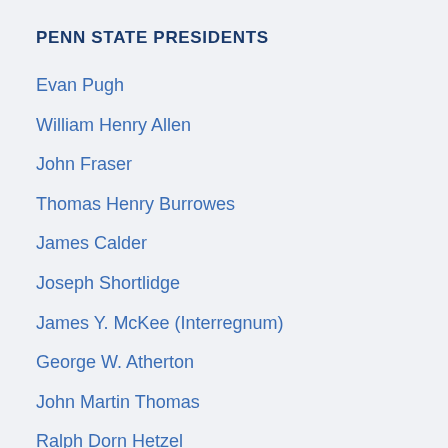PENN STATE PRESIDENTS
Evan Pugh
William Henry Allen
John Fraser
Thomas Henry Burrowes
James Calder
Joseph Shortlidge
James Y. McKee (Interregnum)
George W. Atherton
John Martin Thomas
Ralph Dorn Hetzel